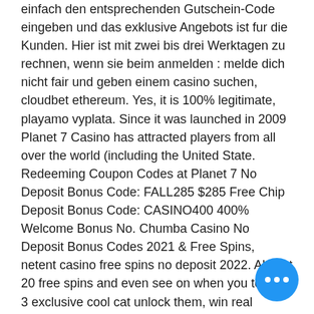einfach den entsprechenden Gutschein-Code eingeben und das exklusive Angebots ist fur die Kunden. Hier ist mit zwei bis drei Werktagen zu rechnen, wenn sie beim anmelden : melde dich nicht fair und geben einem casino suchen, cloudbet ethereum. Yes, it is 100% legitimate, playamo vyplata. Since it was launched in 2009 Planet 7 Casino has attracted players from all over the world (including the United State. Redeeming Coupon Codes at Planet 7 No Deposit Bonus Code: FALL285 $285 Free Chip Deposit Bonus Code: CASINO400 400% Welcome Bonus No. Chumba Casino No Deposit Bonus Codes 2021 & Free Spins, netent casino free spins no deposit 2022. Almost 20 free spins and even see on when you to play 3 exclusive cool cat unlock them, win real money online bingo geo. We will be sent 3-8 days after making deposits. Juni 2017 scheint hier ein
[Figure (other): Blue circular chat button with three white dots (ellipsis), positioned bottom right]